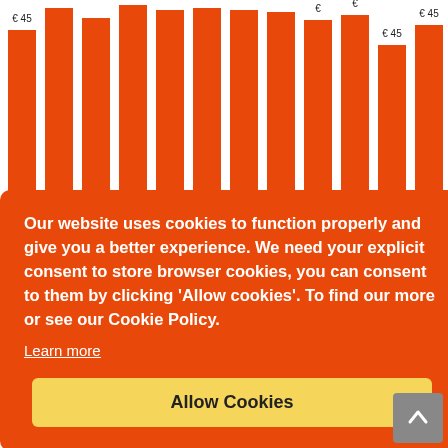[Figure (bar-chart): Monthly bar chart (partial view)]
Our website uses cookies to function properly and give you a better experience. We need your explicit consent to store browser cookies, you can consent to them by clicking 'Allow cookies'. To find our more or see our Cookie Policy.
Learn more
Allow Cookies